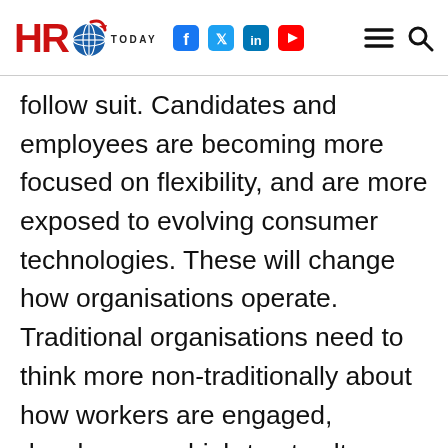HRO Today
follow suit. Candidates and employees are becoming more focused on flexibility, and are more exposed to evolving consumer technologies. These will change how organisations operate. Traditional organisations need to think more non-traditionally about how workers are engaged, develop more high-trust cultures, and embrace remote working models. Technology needs to be adapted so that it is user friendly, mobile, and simple to ensure that any data that is